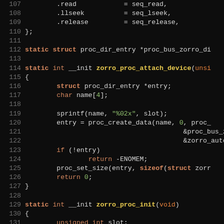[Figure (screenshot): Source code screenshot showing C code (Linux kernel style) with syntax highlighting on a dark background. Lines 107-137 are visible, showing struct initializers for file_operations and two static __init functions: zorro_proc_attach_device and zorro_proc_init.]